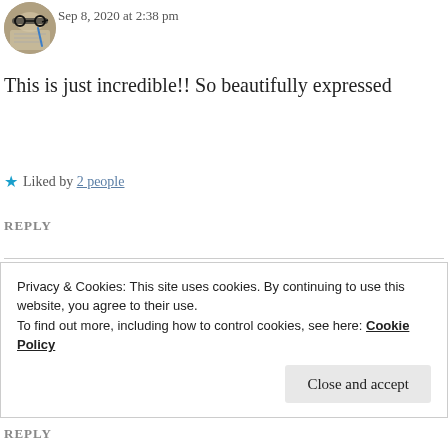[Figure (photo): Circular avatar of first commenter showing glasses and a pen on paper]
Sep 8, 2020 at 2:38 pm
This is just incredible!! So beautifully expressed
★ Liked by 2 people
REPLY
[Figure (photo): Circular avatar of Ishita Gupta showing bokeh lights and books]
ISHITA GUPTA
Sep 8, 2020 at 3:34 pm
Privacy & Cookies: This site uses cookies. By continuing to use this website, you agree to their use.
To find out more, including how to control cookies, see here: Cookie Policy
Close and accept
REPLY